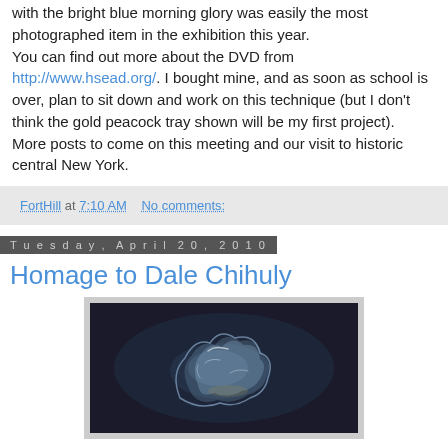with the bright blue morning glory was easily the most photographed item in the exhibition this year. You can find out more about the DVD from http://www.hsead.org/. I bought mine, and as soon as school is over, plan to sit down and work on this technique (but I don't think the gold peacock tray shown will be my first project). More posts to come on this meeting and our visit to historic central New York.
FortHill at 7:10 AM   No comments:
Tuesday, April 20, 2010
Homage to Dale Chihuly
[Figure (photo): A glass sculpture photograph, showing a translucent blue-clear glass piece against a dark background, resembling Dale Chihuly's style.]